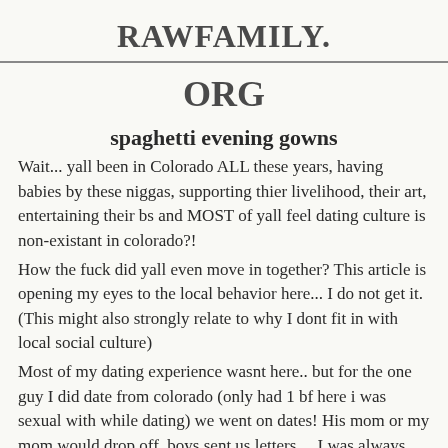RAWFAMILY.
ORG
spaghetti evening gowns
Wait... yall been in Colorado ALL these years, having babies by these niggas, supporting thier livelihood, their art, entertaining their bs and MOST of yall feel dating culture is non-existant in colorado?!
How the fuck did yall even move in together? This article is opening my eyes to the local behavior here... I do not get it. (This might also strongly relate to why I dont fit in with local social culture)
Most of my dating experience wasnt here.. but for the one guy I did date from colorado (only had 1 bf here i was sexual with while dating) we went on dates! His mom or my mom would drop off, boys sent us letters... I was always curious